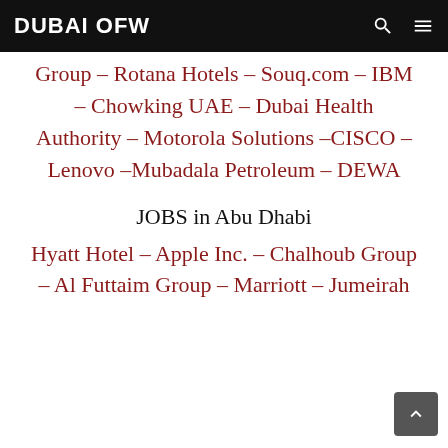DUBAI OFW
Group – Rotana Hotels – Souq.com – IBM – Chowking UAE – Dubai Health Authority – Motorola Solutions –CISCO – Lenovo –Mubadala Petroleum – DEWA
JOBS in Abu Dhabi
Hyatt Hotel – Apple Inc. – Chalhoub Group – Al Futtaim Group – Marriott – Jumeirah